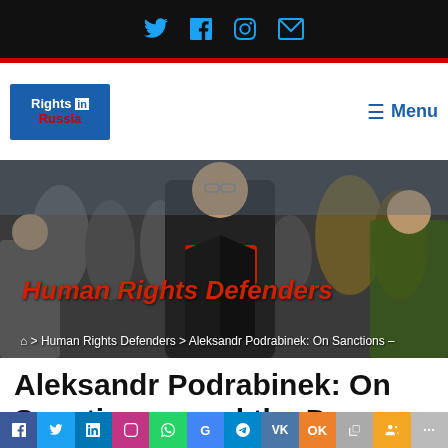Social media icons: Twitter, Facebook, Instagram, Email
[Figure (logo): Rights in Russia logo — blue background with white 'Rights' text, blue 'in' pill, and red 'Russia' text]
≡ Menu
[Figure (photo): Dark background photo of a man in a black coat and red scarf walking in a crowd]
Human Rights Defenders
⌂ > Human Rights Defenders > Aleksandr Podrabinek: On Sanctions –
Aleksandr Podrabinek: On Sanctions – and the Danger
Share bar: Facebook, Twitter, LinkedIn, Instagram, WhatsApp, Google, Telegram, VK, OK, Copy, Team, More